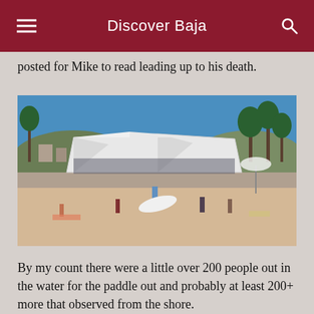Discover Baja
posted for Mike to read leading up to his death.
[Figure (photo): Beach scene with a large white tent, people on sandy beach, a person holding a white surfboard in the foreground, palm trees and hills in background under blue sky.]
By my count there were a little over 200 people out in the water for the paddle out and probably at least 200+ more that observed from the shore.
[Figure (photo): Partial photo visible at bottom of page, showing two sections — left appears lighter blue/ocean, right is green.]